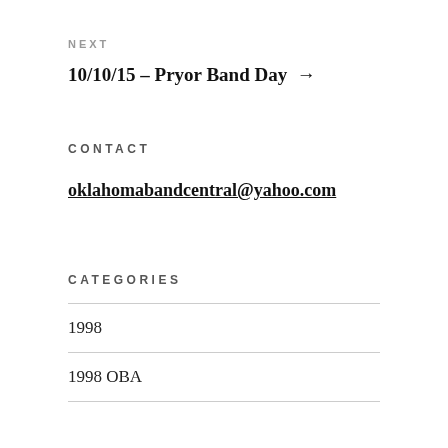NEXT
10/10/15 – Pryor Band Day →
CONTACT
oklahomabandcentral@yahoo.com
CATEGORIES
1998
1998 OBA